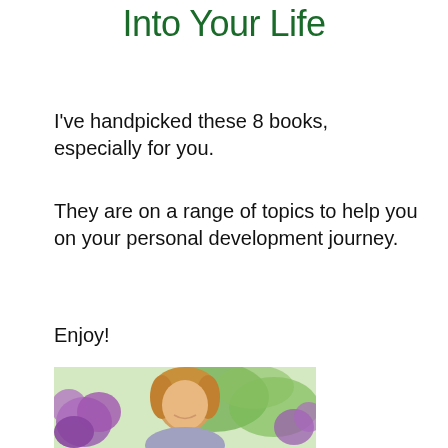Into Your Life
I've handpicked these 8 books, especially for you.
They are on a range of topics to help you on your personal development journey.
Enjoy!
[Figure (photo): Smiling woman with blonde hair standing in front of flowering purple plants and greenery outdoors]